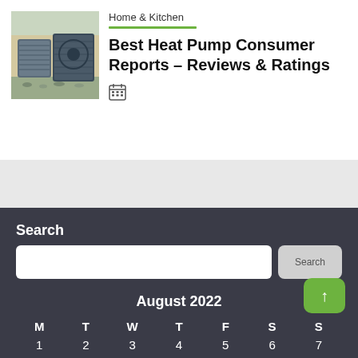[Figure (photo): Outdoor heat pump / HVAC units against a building exterior]
Home & Kitchen
Best Heat Pump Consumer Reports – Reviews & Ratings
[Figure (other): Calendar icon]
Search
August 2022
| M | T | W | T | F | S | S |
| --- | --- | --- | --- | --- | --- | --- |
| 1 | 2 | 3 | 4 | 5 | 6 | 7 |
| 8 | 9 | 10 | 11 | 12 | 13 | 14 |